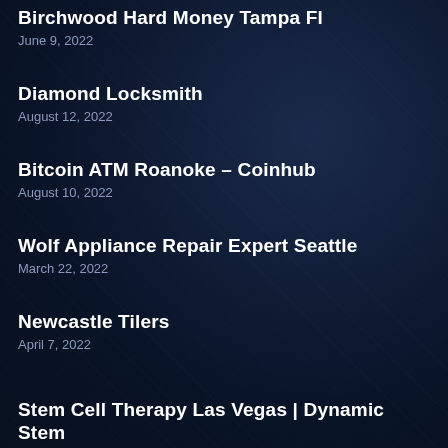Birchwood Hard Money Tampa Fl
June 9, 2022
Diamond Locksmith
August 12, 2022
Bitcoin ATM Roanoke – Coinhub
August 10, 2022
Wolf Appliance Repair Expert Seattle
March 22, 2022
Newcastle Tilers
April 7, 2022
Stem Cell Therapy Las Vegas | Dynamic Stem